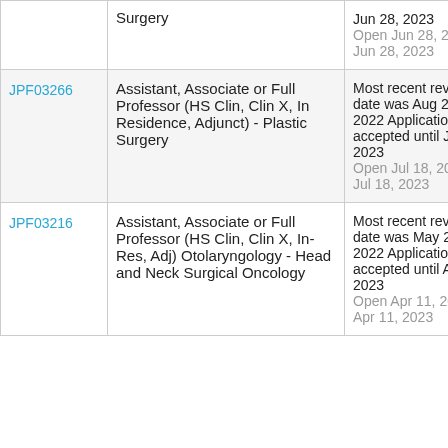| ID | Position | Date |
| --- | --- | --- |
|  | Surgery | Jun 28, 2023
Open Jun 28, 2022 – Jun 28, 2023 |
| JPF03266 | Assistant, Associate or Full Professor (HS Clin, Clin X, In Residence, Adjunct) - Plastic Surgery | Most recent review date was Aug 21, 2022 Applications accepted until Jul 18, 2023
Open Jul 18, 2022 – Jul 18, 2023 |
| JPF03216 | Assistant, Associate or Full Professor (HS Clin, Clin X, In-Res, Adj) Otolaryngology - Head and Neck Surgical Oncology | Most recent review date was May 22, 2022 Applications accepted until Apr 11, 2023
Open Apr 11, 2022 – Apr 11, 2023 |